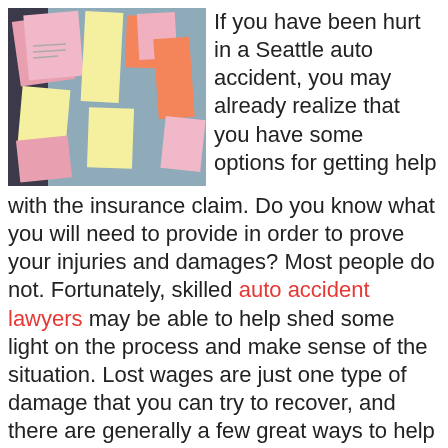[Figure (photo): Photo of colorful sticky notes (pink, yellow, orange) pinned to a dark board]
If you have been hurt in a Seattle auto accident, you may already realize that you have some options for getting help with the insurance claim. Do you know what you will need to provide in order to prove your injuries and damages? Most people do not. Fortunately, skilled auto accident lawyers may be able to help shed some light on the process and make sense of the situation. Lost wages are just one type of damage that you can try to recover, and there are generally a few great ways to help prove your lost wage claim.
*Written Verification From Employer* Perhaps the